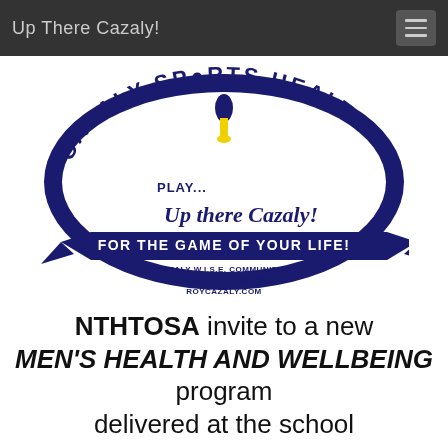Up There Cazaly!
[Figure (logo): Cazaly Sports Health circular logo with football player and text: PLAY... Up there Cazaly! FOR THE GAME OF YOUR LIFE! CAZALY W.I.S.E. COMMUNITIES, CAZALY'S CHAMPIONS, ROYCAZALY.COM]
NTHTOSA invite to a new MEN'S HEALTH AND WELLBEING program delivered at the school